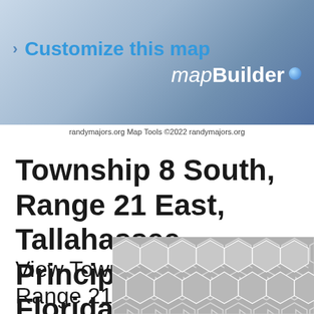[Figure (screenshot): mapBuilder banner with 'Customize this map' link and mapBuilder logo with blue gradient background]
randymajors.org Map Tools ©2022 randymajors.org
Township 8 South, Range 21 East, Tallahassee Principal Meridian, Florida
View Township 8 South, Range 21 East, Tallahassee Principal Meridian, Florida Sec